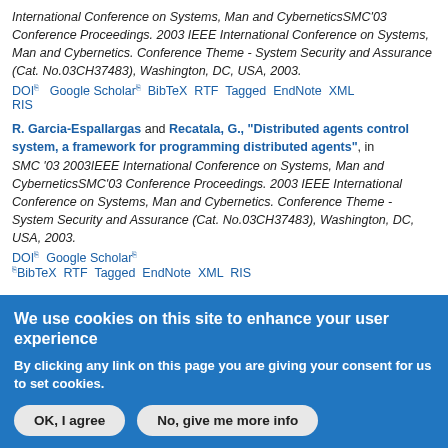International Conference on Systems, Man and CyberneticsSMC'03 Conference Proceedings. 2003 IEEE International Conference on Systems, Man and Cybernetics. Conference Theme - System Security and Assurance (Cat. No.03CH37483), Washington, DC, USA, 2003. DOI Google Scholar BibTeX RTF Tagged EndNote XML RIS
R. Garcia-Espallargas and Recatala, G., "Distributed agents control system, a framework for programming distributed agents", in SMC '03 2003IEEE International Conference on Systems, Man and CyberneticsSMC'03 Conference Proceedings. 2003 IEEE International Conference on Systems, Man and Cybernetics. Conference Theme - System Security and Assurance (Cat. No.03CH37483), Washington, DC, USA, 2003. DOI Google Scholar BibTeX RTF Tagged EndNote XML RIS
We use cookies on this site to enhance your user experience
By clicking any link on this page you are giving your consent for us to set cookies.
OK, I agree  No, give me more info